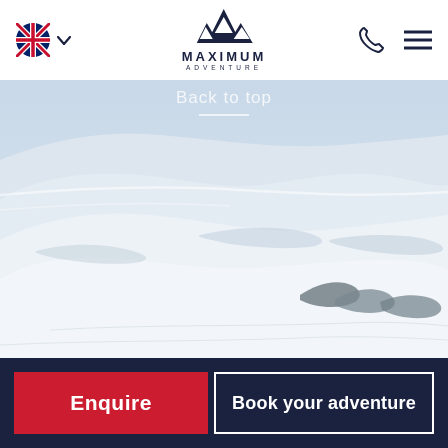Maximum Adventure — site header with UK flag, logo, phone icon, menu icon
[Figure (photo): Aerial snowy mountain landscape with wind-blown snow ridges and rocky outcrops, predominantly white and light blue tones]
Back to top
Enquire
Book your adventure